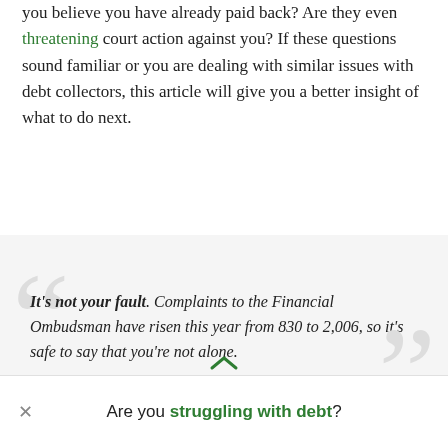you believe you have already paid back? Are they even threatening court action against you? If these questions sound familiar or you are dealing with similar issues with debt collectors, this article will give you a better insight of what to do next.
It's not your fault. Complaints to the Financial Ombudsman have risen this year from 830 to 2,006, so it's safe to say that you're not alone.
Are you struggling with debt?